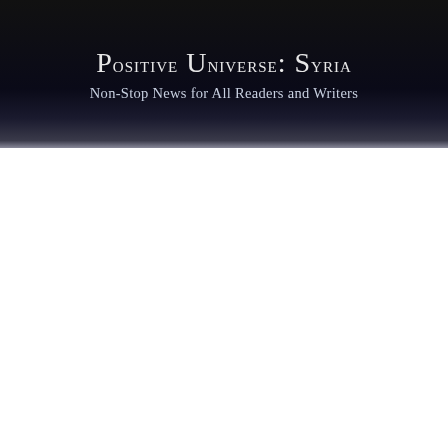Positive Universe: Syria
Non-Stop News for All Readers and Writers